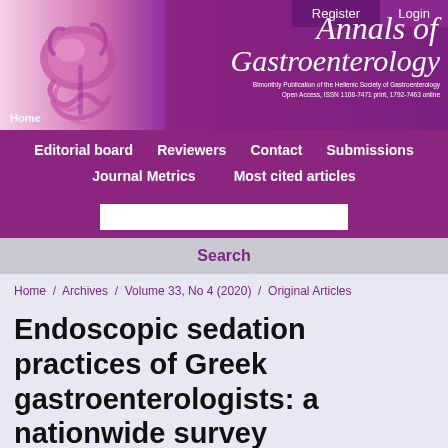[Figure (logo): Annals of Gastroenterology journal header with anatomical illustration on the left and journal title on the right, with Register and Login buttons in top right corner]
Editorial board  Reviewers  Contact  Submissions  Journal Metrics  Most cited articles
Search
Home / Archives / Volume 33, No 4 (2020) / Original Articles
Endoscopic sedation practices of Greek gastroenterologists: a nationwide survey